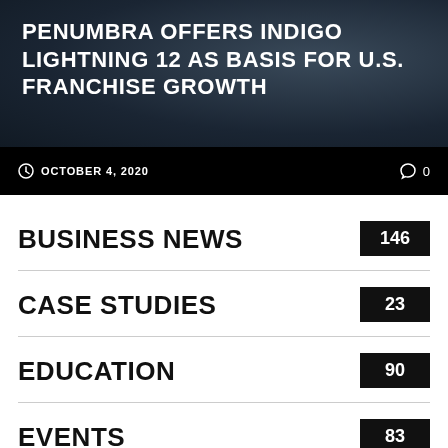[Figure (photo): Dark blue hero image with car/machinery background, overlaid with article title text]
PENUMBRA OFFERS INDIGO LIGHTNING 12 AS BASIS FOR U.S. FRANCHISE GROWTH
OCTOBER 4, 2020   0
BUSINESS NEWS 146
CASE STUDIES 23
EDUCATION 90
EVENTS 83